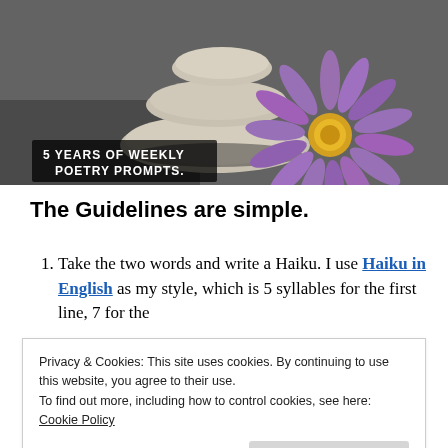[Figure (photo): Photo of stacked zen stones with a purple flower on the right side against a dark gravel background. Overlaid text reads '5 YEARS OF WEEKLY POETRY PROMPTS.' in white on a dark semi-transparent box.]
The Guidelines are simple.
Take the two words and write a Haiku. I use Haiku in English as my style, which is 5 syllables for the first line, 7 for the
Privacy & Cookies: This site uses cookies. By continuing to use this website, you agree to their use. To find out more, including how to control cookies, see here: Cookie Policy
form I created called Freku. You can also